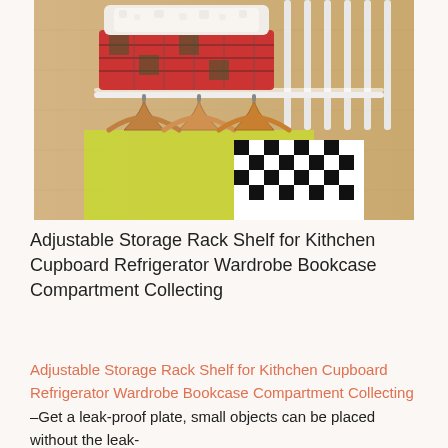[Figure (photo): A closet interior showing folded clothes (plaid and patterned fabrics) stacked on a white metal rod shelf, with wooden clothes hangers holding garments below including a yellow top and a black-and-white checkered item. The closet walls are light wood-colored.]
Adjustable Storage Rack Shelf for Kithchen Cupboard Refrigerator Wardrobe Bookcase Compartment Collecting
Adjustable Storage Rack Shelf for Kithchen Cupboard Refrigerator Wardrobe Bookcase Compartment Collecting –Get a leak-proof plate, small objects can be placed without the leak-